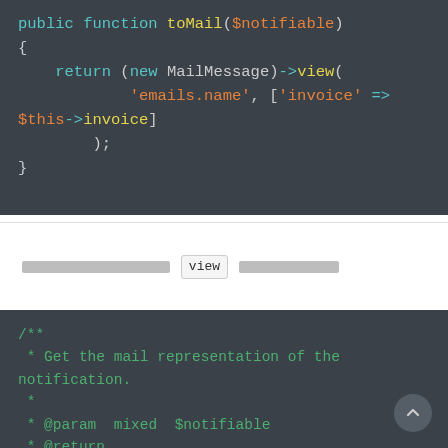[Figure (screenshot): Code block showing PHP toMail function with syntax highlighting on dark background]
[redacted text] view [redacted text]
[Figure (screenshot): Code block showing PHP docblock comment with @param mixed $notifiable and @return annotation on dark background]